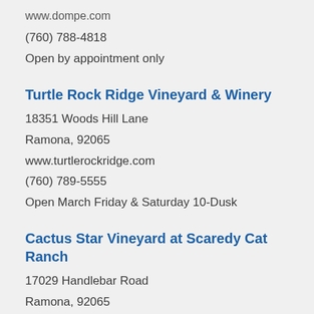www.dompe.com
(760) 788-4818
Open by appointment only
Turtle Rock Ridge Vineyard & Winery
18351 Woods Hill Lane
Ramona, 92065
www.turtlerockridge.com
(760) 789-5555
Open March Friday & Saturday 10-Dusk
Cactus Star Vineyard at Scaredy Cat Ranch
17029 Handlebar Road
Ramona, 92065